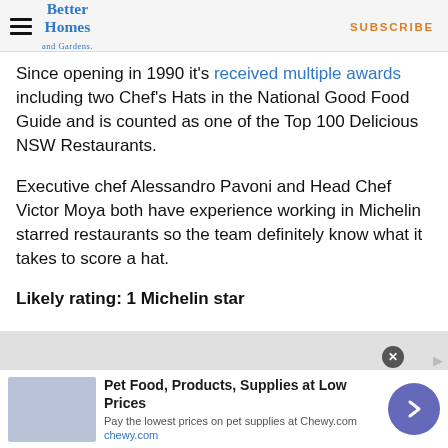Better Homes and Gardens | SUBSCRIBE
Since opening in 1990 it’s received multiple awards including two Chef’s Hats in the National Good Food Guide and is counted as one of the Top 100 Delicious NSW Restaurants.
Executive chef Alessandro Pavoni and Head Chef Victor Moya both have experience working in Michelin starred restaurants so the team definitely know what it takes to score a hat.
Likely rating: 1 Michelin star
[Figure (other): Advertisement banner for Chewy.com: Pet Food, Products, Supplies at Low Prices. Pay the lowest prices on pet supplies at Chewy.com. chewy.com]